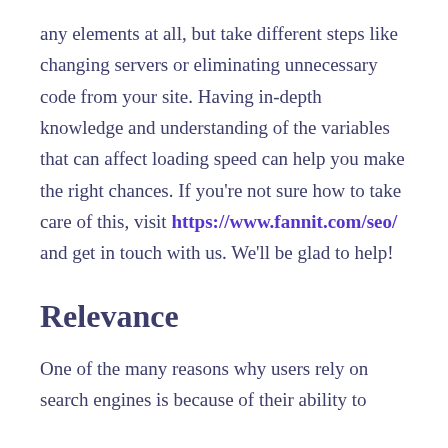any elements at all, but take different steps like changing servers or eliminating unnecessary code from your site. Having in-depth knowledge and understanding of the variables that can affect loading speed can help you make the right chances. If you're not sure how to take care of this, visit https://www.fannit.com/seo/ and get in touch with us. We'll be glad to help!
Relevance
One of the many reasons why users rely on search engines is because of their ability to